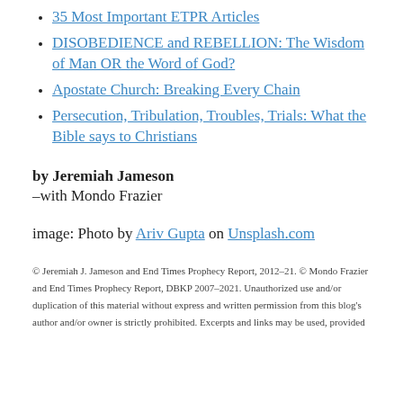35 Most Important ETPR Articles
DISOBEDIENCE and REBELLION: The Wisdom of Man OR the Word of God?
Apostate Church: Breaking Every Chain
Persecution, Tribulation, Troubles, Trials: What the Bible says to Christians
by Jeremiah Jameson
–with Mondo Frazier
image: Photo by Ariv Gupta on Unsplash.com
© Jeremiah J. Jameson and End Times Prophecy Report, 2012–21. © Mondo Frazier and End Times Prophecy Report, DBKP 2007–2021. Unauthorized use and/or duplication of this material without express and written permission from this blog's author and/or owner is strictly prohibited. Excerpts and links may be used, provided